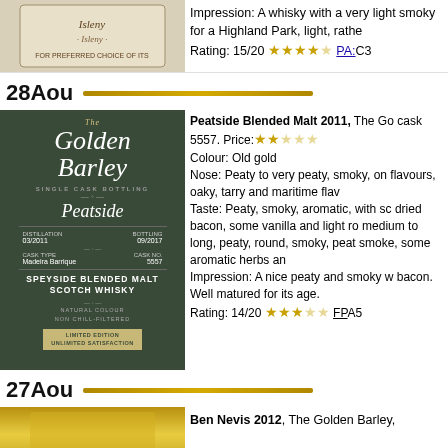[Figure (photo): Whisky bottle label - partial view at top]
Impression: A whisky with a very light smoky for a Highland Park, light, rather Rating: 15/20 ★★★★☆ PA:C3
28Aou
[Figure (photo): The Golden Barley bottle - Peatside Speyside Blended Malt Scotch Whisky, Single Cask Bottling, cask 5557, distillation 03/2011, bottling 09/2017, Madeira Barrique, Natural Colour Non Chill-Filtered, Limited Edition Unlimited Satisfaction]
Peatside Blended Malt 2011, The Go cask 5557. Price: ★★☆☆☆ Colour: Old gold Nose: Peaty to very peaty, smoky, on flavours, oaky, tarry and maritime flav Taste: Peaty, smoky, aromatic, with sc dried bacon, some vanilla and light ro medium to long, peaty, round, smoky, peat smoke, some aromatic herbs an Impression: A nice peaty and smoky w bacon. Well matured for its age. Rating: 14/20 ★★★☆☆ FPA5
27Aou
[Figure (photo): Bottle bottom portion - golden/amber colored]
Ben Nevis 2012, The Golden Barley,